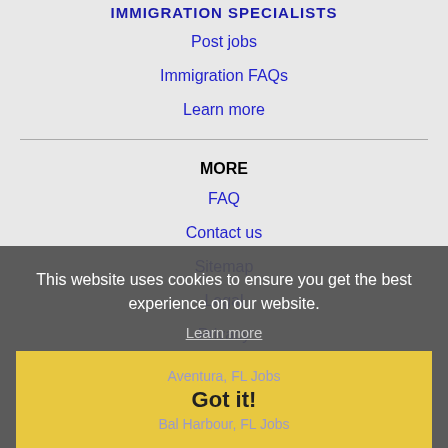IMMIGRATION SPECIALISTS
Post jobs
Immigration FAQs
Learn more
MORE
FAQ
Contact us
Sitemap
Legal
Privacy
NEARBY CITIES
Aventura, FL Jobs
Bal Harbour, FL Jobs
Boca Raton, FL Jobs
Boynton Beach, FL Jobs
This website uses cookies to ensure you get the best experience on our website.
Learn more
Got it!